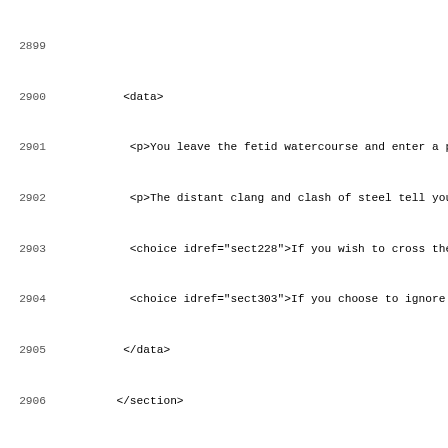Code listing showing XML markup for sections 172-174 of a gamebook, including data, choice elements with idrefs, line numbers 2899-2931.